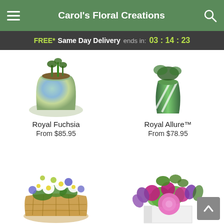Carol's Floral Creations
FREE* Same Day Delivery ends in: 03 : 14 : 23
[Figure (photo): Royal Fuchsia floral arrangement in an iridescent metallic pot, partially visible at top of page]
Royal Fuchsia
From $85.95
[Figure (photo): Royal Allure floral arrangement in a green and white striped vase, partially visible at top of page]
Royal Allure™
From $78.95
[Figure (photo): White daisies and blue/purple wildflowers arranged in a wicker basket]
[Figure (photo): Pink dahlias, magenta roses, green chrysanthemums and purple alstroemeria in a white cube vase]